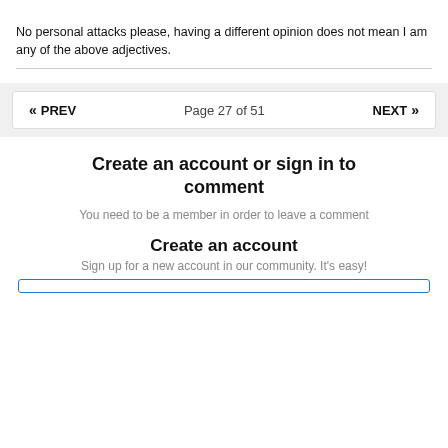No personal attacks please, having a different opinion does not mean I am any of the above adjectives.
« PREV   Page 27 of 51   NEXT »
Create an account or sign in to comment
You need to be a member in order to leave a comment
Create an account
Sign up for a new account in our community. It's easy!